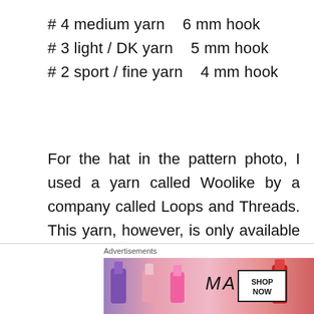# 4 medium yarn    6 mm hook
# 3 light / DK yarn    5 mm hook
# 2 sport / fine yarn    4 mm hook
For the hat in the pattern photo, I used a yarn called Woolike by a company called Loops and Threads. This yarn, however, is only available in Michaels stores in the U.S., and might not be easy to find if you live elsewhere. I'll leave the specs below in case you want to use something similar.
Woolike Yarn specs:
[Figure (photo): Advertisement banner showing lipsticks with MAC logo and SHOP NOW button]
Advertisements